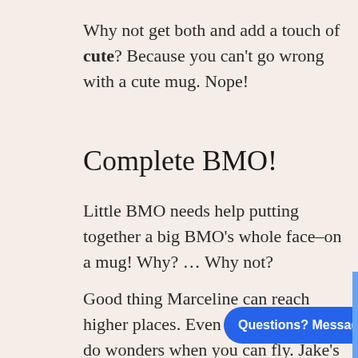Why not get both and add a touch of cute? Because you can't go wrong with a cute mug. Nope!
Complete BMO!
Little BMO needs help putting together a big BMO's whole face–on a mug! Why? … Why not?
Good thing Marceline can reach higher places. Even keybie arms can do wonders when you can fly. Jake's looking a little biased with his fellow yellow button BMO's look pretty macho, and Jake's